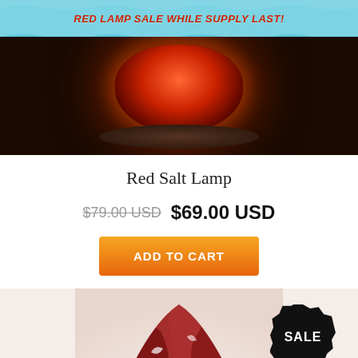RED LAMP SALE WHILE SUPPLY LAST!
[Figure (photo): A glowing red salt lamp photographed in dark setting, showing the warm red-orange glow of the lamp against a very dark background.]
Red Salt Lamp
$79.00 USD  $69.00 USD
ADD TO CART
[Figure (photo): A red salt lamp shown on a light background with a black starburst SALE badge in the upper right corner.]